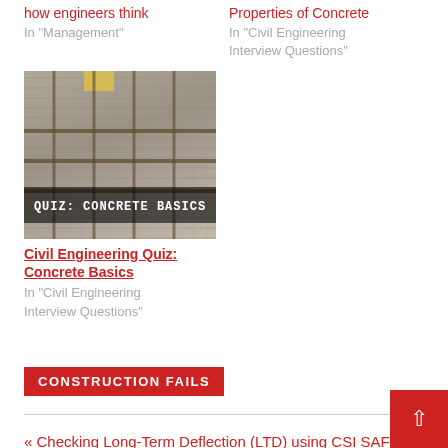how engineers think
In "Management"
Properties of Concrete
In "Civil Engineering Interview Questions"
[Figure (photo): Photo of wet concrete being poured over rebar with overlay text QUIZ: CONCRETE BASICS]
Civil Engineering Quiz: Concrete Basics
In "Civil Engineering Interview Questions"
CONSTRUCTION FAILS
« Checking Long-Term Deflection (LTD) using CSI SAFE
Concrete with Self-Healing Abi